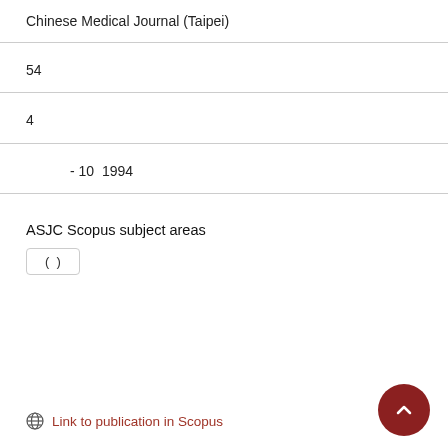Chinese Medical Journal (Taipei)
54
4
- 10  1994
ASJC Scopus subject areas
( )
Link to publication in Scopus